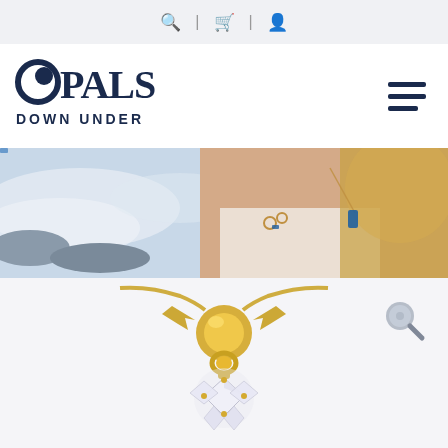Navigation bar with search, cart, and account icons
[Figure (logo): Opals Down Under logo — circular O graphic with text OPALS DOWN UNDER in dark navy]
[Figure (photo): Hero banner photo of a blonde woman at the beach wearing opal rings and a blue opal pendant necklace]
[Figure (photo): Close-up product photo of a gold pendant with chain and diamond/crystal cluster, with magnifier zoom icon in the corner]